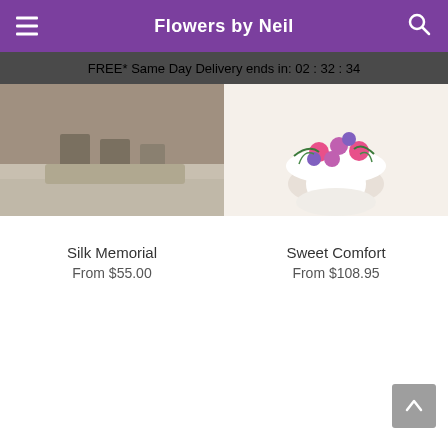Flowers by Neil
FREE* Same Day Delivery ends in: 02 : 32 : 34
[Figure (photo): Silk memorial arrangement photo showing flower stems near stone steps]
[Figure (photo): Sweet Comfort arrangement photo showing pink and purple flowers in a white pot]
Silk Memorial
From $55.00
Sweet Comfort
From $108.95